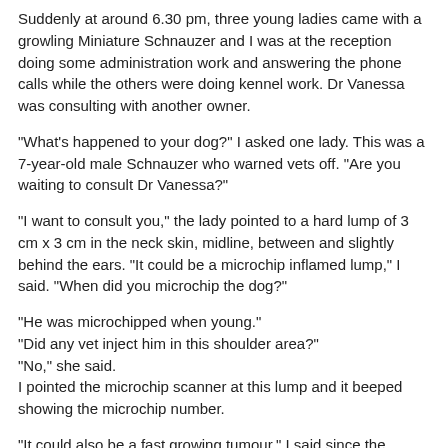Suddenly at around 6.30 pm, three young ladies came with a growling Miniature Schnauzer and I was at the reception doing some administration work and answering the phone calls while the others were doing kennel work. Dr Vanessa was consulting with another owner.
"What's happened to your dog?" I asked one lady. This was a 7-year-old male Schnauzer who warned vets off. "Are you waiting to consult Dr Vanessa?"
"I want to consult you," the lady pointed to a hard lump of 3 cm x 3 cm in the neck skin, midline, between and slightly behind the ears. "It could be a microchip inflamed lump," I said. "When did you microchip the dog?"
"He was microchipped when young."
"Did any vet inject him in this shoulder area?"
"No," she said.
I pointed the microchip scanner at this lump and it beeped showing the microchip number.
"It could also be a fast growing tumour," I said since the